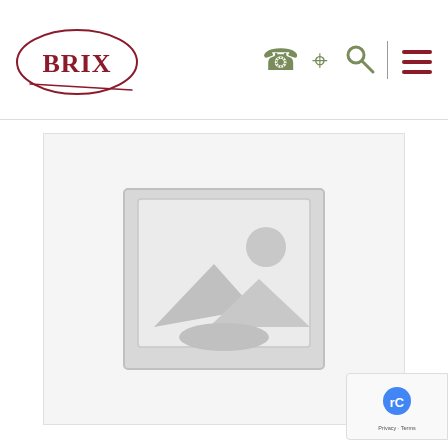BRIX - website header with logo and navigation icons
[Figure (photo): Placeholder image icon showing a landscape with mountains and sun inside a square frame, grey on light grey background, indicating a missing product image.]